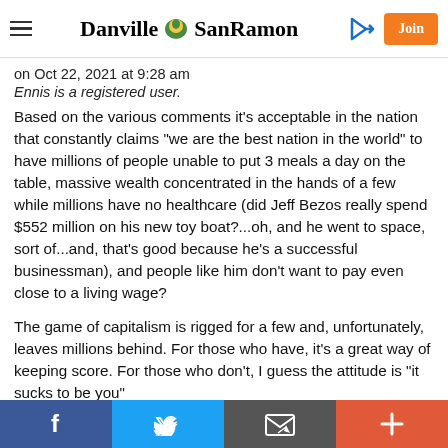Danville SanRamon — navigation header with hamburger menu, logo, sign-in icon, and Join button
on Oct 22, 2021 at 9:28 am
Ennis is a registered user.
Based on the various comments it's acceptable in the nation that constantly claims "we are the best nation in the world" to have millions of people unable to put 3 meals a day on the table, massive wealth concentrated in the hands of a few while millions have no healthcare (did Jeff Bezos really spend $552 million on his new toy boat?...oh, and he went to space, sort of...and, that's good because he's a successful businessman), and people like him don't want to pay even close to a living wage?
The game of capitalism is rigged for a few and, unfortunately, leaves millions behind. For those who have, it's a great way of keeping score. For those who don't, I guess the attitude is "it sucks to be you"
Social share bar: Facebook, Twitter, Email, Plus